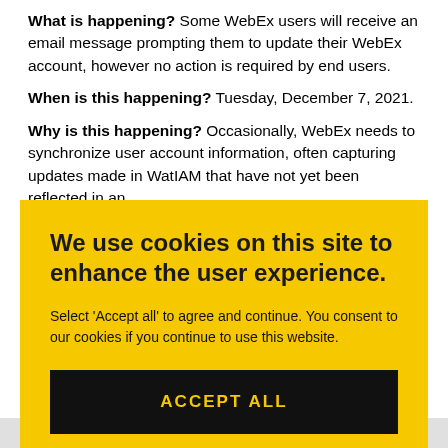What is happening? Some WebEx users will receive an email message prompting them to update their WebEx account, however no action is required by end users.
When is this happening? Tuesday, December 7, 2021.
Why is this happening? Occasionally, WebEx needs to synchronize user account information, often capturing updates made in WatIAM that have not yet been reflected in an
[Figure (screenshot): Cookie consent overlay with yellow background. Title: 'We use cookies on this site to enhance the user experience.' Body: 'Select Accept all to agree and continue. You consent to our cookies if you continue to use this website.' Black button with yellow text: 'ACCEPT ALL']
TOP   SHARE